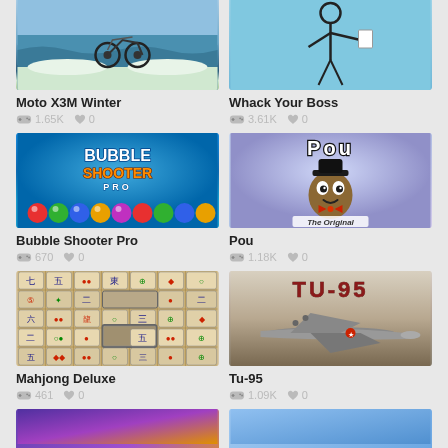[Figure (screenshot): Moto X3M Winter game thumbnail showing motorcycle on snowy track]
Moto X3M Winter
1.65K plays, 0 likes
[Figure (screenshot): Whack Your Boss game thumbnail showing cartoon character]
Whack Your Boss
3.61K plays, 0 likes
[Figure (screenshot): Bubble Shooter Pro game thumbnail with colorful bubbles]
Bubble Shooter Pro
670 plays, 0 likes
[Figure (screenshot): Pou game thumbnail showing Pou character in tuxedo]
Pou
1.18K plays, 0 likes
[Figure (screenshot): Mahjong Deluxe game thumbnail showing mahjong tiles]
Mahjong Deluxe
461 plays, 0 likes
[Figure (screenshot): Tu-95 game thumbnail showing Soviet bomber aircraft]
Tu-95
1.09K plays, 0 likes